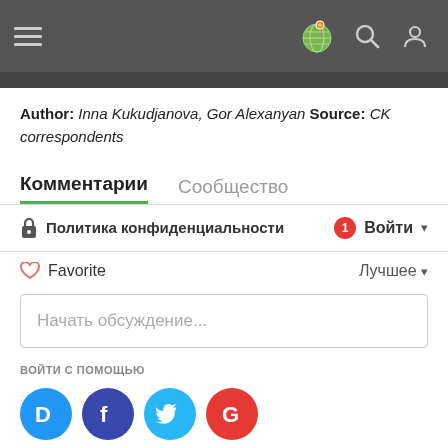Navigation bar with menu, globe icon, search, and user icons
Author: Inna Kukudjanova, Gor Alexanyan Source: CK correspondents
Комментарии  Сообщество
🔒 Политика конфиденциальности  1  Войти ▾
♡ Favorite  Лучшее ▾
Начать обсуждение...
ВОЙТИ С ПОМОЩЬЮ
[Figure (logo): Social login icons: Disqus (blue), Facebook (dark blue), Twitter (light blue), Google (red)]
ИЛИ ЧЕРЕЗ DISQUS ?
Имя